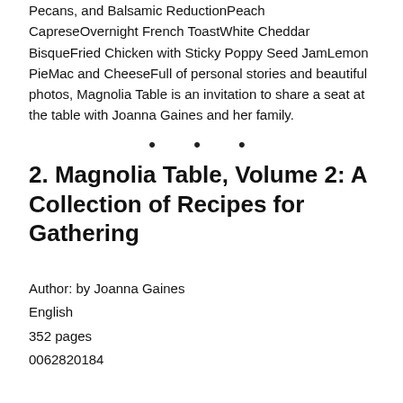Pecans, and Balsamic ReductionPeach CapreseOvernight French ToastWhite Cheddar BisqueFried Chicken with Sticky Poppy Seed JamLemon PieMac and CheeseFull of personal stories and beautiful photos, Magnolia Table is an invitation to share a seat at the table with Joanna Gaines and her family.
2. Magnolia Table, Volume 2: A Collection of Recipes for Gathering
Author: by Joanna Gaines
English
352 pages
0062820184